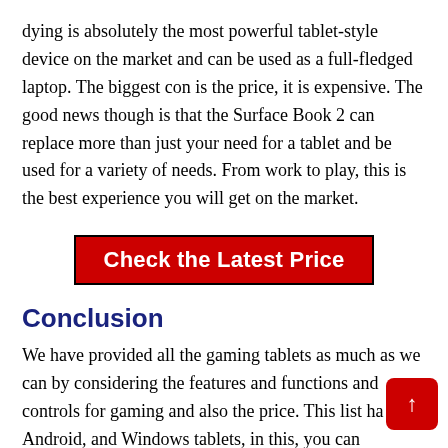dying is absolutely the most powerful tablet-style device on the market and can be used as a full-fledged laptop. The biggest con is the price, it is expensive. The good news though is that the Surface Book 2 can replace more than just your need for a tablet and be used for a variety of needs. From work to play, this is the best experience you will get on the market.
Check the Latest Price
Conclusion
We have provided all the gaming tablets as much as we can by considering the features and functions and controls for gaming and also the price. This list ha OS, Android, and Windows tablets, in this, you can